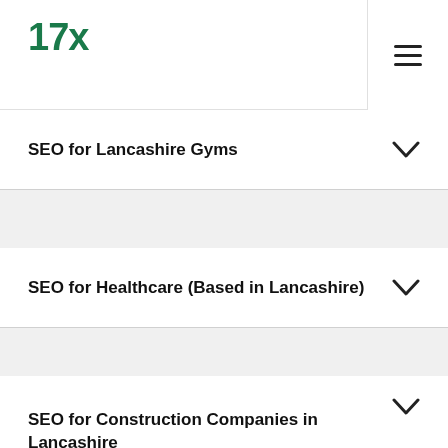17x
SEO for Lancashire Gyms
SEO for Healthcare (Based in Lancashire)
SEO for Construction Companies in Lancashire
SEO for Estate Agents in Lancashire